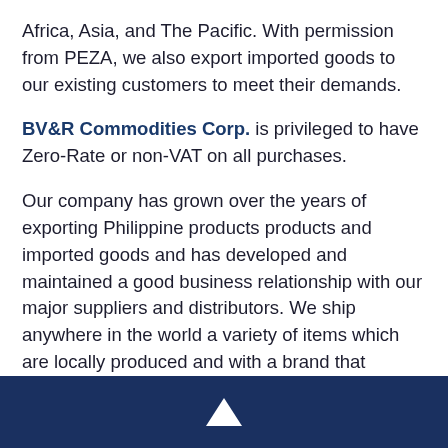Africa, Asia, and The Pacific. With permission from PEZA, we also export imported goods to our existing customers to meet their demands.
BV&R Commodities Corp. is privileged to have Zero-Rate or non-VAT on all purchases.
Our company has grown over the years of exporting Philippine products products and imported goods and has developed and maintained a good business relationship with our major suppliers and distributors. We ship anywhere in the world a variety of items which are locally produced and with a brand that consumers can trust to meet the growing market demands and to introduce the unique culture of Filipinos across the globe.
▲